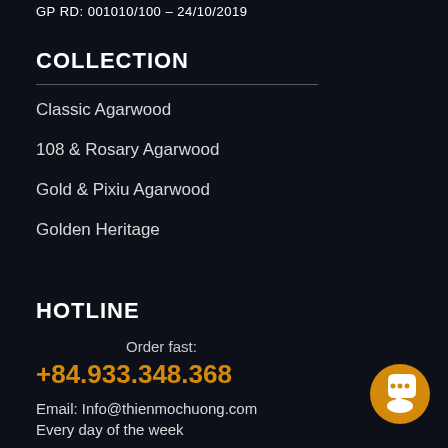GP RD: 001010/100 - 24/10/2019
COLLECTION
Classic Agarwood
108 & Rosary Agarwood
Gold & Pixiu Agarwood
Golden Heritage
HOTLINE
Order fast:
+84.933.348.368
Email: Info@thienmochuong.com
Every day of the week